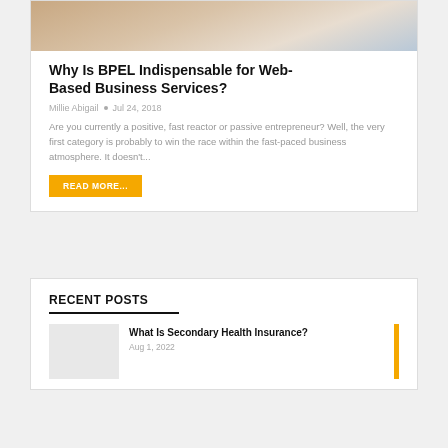[Figure (photo): Hand writing or working at a desk with a laptop, seen from above, warm tones]
Why Is BPEL Indispensable for Web-Based Business Services?
Millie Abigail  •  Jul 24, 2018
Are you currently a positive, fast reactor or passive entrepreneur? Well, the very first category is probably to win the race within the fast-paced business atmosphere. It doesn't...
READ MORE...
RECENT POSTS
What Is Secondary Health Insurance?
Aug 1, 2022